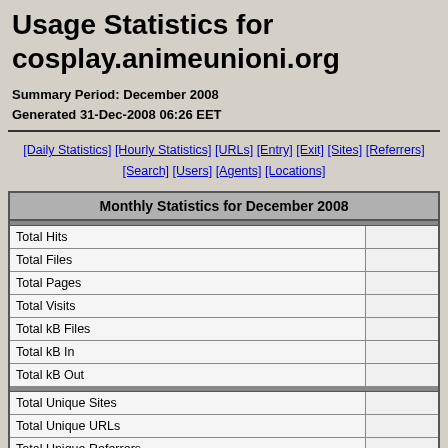Usage Statistics for cosplay.animeunioni.org
Summary Period: December 2008
Generated 31-Dec-2008 06:26 EET
[Daily Statistics] [Hourly Statistics] [URLs] [Entry] [Exit] [Sites] [Referrers] [Search] [Users] [Agents] [Locations]
| Monthly Statistics for December 2008 |  |
| --- | --- |
| Total Hits |  |
| Total Files |  |
| Total Pages |  |
| Total Visits |  |
| Total kB Files |  |
| Total kB In |  |
| Total kB Out |  |
| Total Unique Sites |  |
| Total Unique URLs |  |
| Total Unique Referrers |  |
| Total Unique Usernames |  |